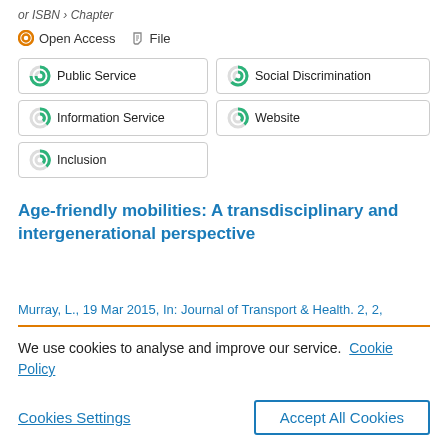or ISBN › Chapter
Open Access   File
Public Service
Social Discrimination
Information Service
Website
Inclusion
Age-friendly mobilities: A transdisciplinary and intergenerational perspective
Murray, L., 19 Mar 2015, In: Journal of Transport & Health. 2, 2,
We use cookies to analyse and improve our service.  Cookie Policy
Cookies Settings    Accept All Cookies